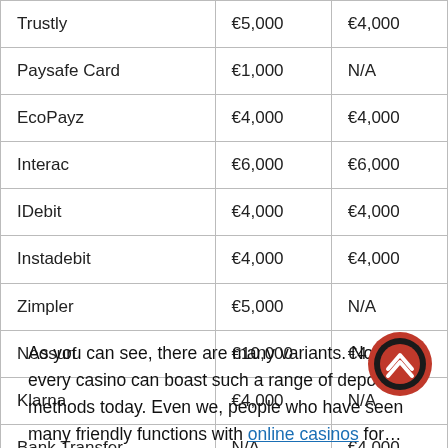| Trustly | €5,000 | €4,000 |
| Paysafe Card | €1,000 | N/A |
| EcoPayz | €4,000 | €4,000 |
| Interac | €6,000 | €6,000 |
| IDebit | €4,000 | €4,000 |
| Instadebit | €4,000 | €4,000 |
| Zimpler | €5,000 | N/A |
| Neosurf | €10,000 | €4,000 |
| Klarna | €4,000 | N/A |
| Bank Transfer | N/A | €4,000 |
As you can see, there are many variants. Not every cas… can boast such a range of deposit methods today. Even we, people who have seen many friendly functions with online casinos for…